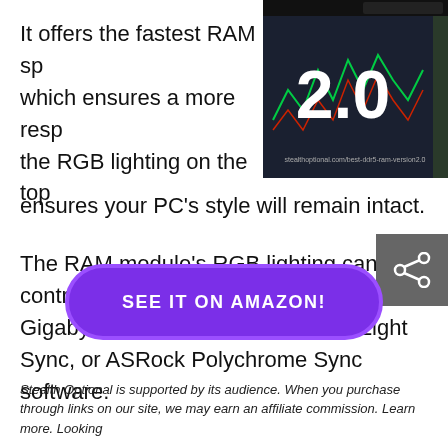It offers the fastest RAM sp… which ensures a more resp… the RGB lighting on the top… ensures your PC’s style will remain intact.
[Figure (screenshot): Screenshot of a trading platform on a monitor with a large '2.0' graphic overlay and a Planet logo in the top right corner]
The RAM module’s RGB lighting can be controlled through Asus Aura Sync, Gigabyte RGB Fusion, MSI Mystic Light Sync, or ASRock Polychrome Sync software.
[Figure (other): Share button icon (network share symbol) on a grey square background]
SEE IT ON AMAZON!
Stealth Optional is supported by its audience. When you purchase through links on our site, we may earn an affiliate commission. Learn more. Looking